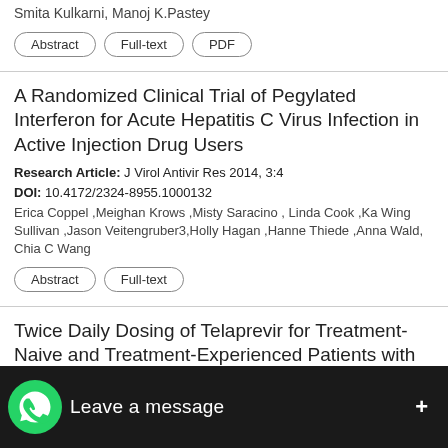Smita Kulkarni, Manoj K.Pastey
Abstract | Full-text | PDF
A Randomized Clinical Trial of Pegylated Interferon for Acute Hepatitis C Virus Infection in Active Injection Drug Users
Research Article: J Virol Antivir Res 2014, 3:4
DOI: 10.4172/2324-8955.1000132
Erica Coppel ,Meighan Krows ,Misty Saracino , Linda Cook ,Ka Wing Sullivan ,Jason Veitengruber3,Holly Hagan ,Hanne Thiede ,Anna Wald, Chia C Wang
Abstract | Full-text
Twice Daily Dosing of Telaprevir for Treatment-Naive and Treatment-Experienced Patients with Hepatitis C Infection
Research Article: J Virol Antivir Res 2014, 3:4
David ... W.Fried, David R.Nelson, And...